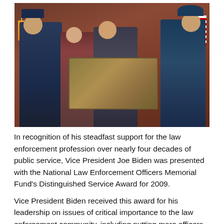[Figure (photo): Four men posing together holding a large bronze award plaque on a stage. Two men on the left and right are in dark blue police/military uniforms with badges and hats. The man second from right in a dark suit is Vice President Joe Biden. Behind them are American flags and a dark red/brown wall backdrop.]
In recognition of his steadfast support for the law enforcement profession over nearly four decades of public service, Vice President Joe Biden was presented with the National Law Enforcement Officers Memorial Fund's Distinguished Service Award for 2009.
Vice President Biden received this award for his leadership on issues of critical importance to the law enforcement community, including putting more officers on the street, reducing violence against women, and protecting and honoring the nation's off...